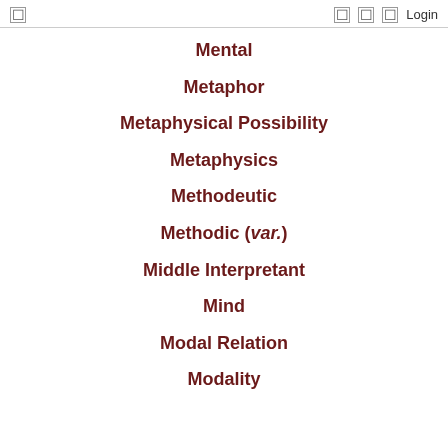☰  ☐ ☐ ☐  Login
Mental
Metaphor
Metaphysical Possibility
Metaphysics
Methodeutic
Methodic (var.)
Middle Interpretant
Mind
Modal Relation
Modality